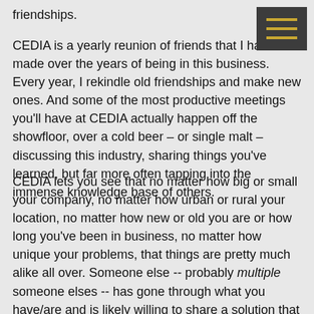friendships.
CEDIA is a yearly reunion of friends that I have made over the years of being in this business. Every year, I rekindle old friendships and make new ones. And some of the most productive meetings you'll have at CEDIA actually happen off the showfloor, over a cold beer – or single malt – discussing this industry, sharing things you've learned, but far more often tapping into the immense knowledge base of others.
CEDIA lets you see that no matter how big or small your company, no matter how urban or rural your location, no matter how new or old you are or how long you've been in business, no matter how unique your problems, that things are pretty much alike all over. Someone else -- probably multiple someone elses -- has gone through what you have/are and is likely willing to share a solution that helped them resolve it.